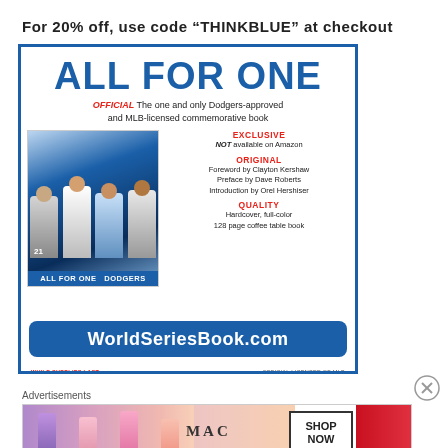For 20% off, use code “THINKBLUE” at checkout
[Figure (illustration): Advertisement for 'All For One' Dodgers commemorative book. Blue bordered box with 'ALL FOR ONE' title in large blue bold text. Subtitle: 'OFFICIAL The one and only Dodgers-approved and MLB-licensed commemorative book'. Left side shows book cover with Dodgers players. Right side lists features: EXCLUSIVE - NOT available on Amazon; ORIGINAL - Foreword by Clayton Kershaw, Preface by Dave Roberts, Introduction by Orel Hershiser; QUALITY - Hardcover, full-color 128 page coffee table book. Blue rounded button at bottom: WorldSeriesBook.com. Fine print: WHILE SUPPLIES LAST and OFFICIAL LICENSEE OF MLB.]
Advertisements
[Figure (photo): MAC cosmetics advertisement banner showing lipsticks in purple, pink, and red colors. MAC logo text in center. SHOP NOW box on right. Red lipstick on far right.]